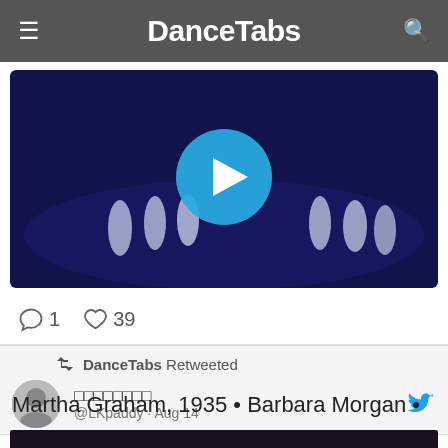DanceTabs
[Figure (screenshot): Video thumbnail of ballet dancers on a dark stage with a blue play button circle in the center]
1  39
DanceTabs Retweeted
□□□□□□□□ @LKpaddy · Aug 14
Martha Graham, 1935 • Barbara Morgan •
[Figure (photo): Partial dark photograph visible at bottom of page]